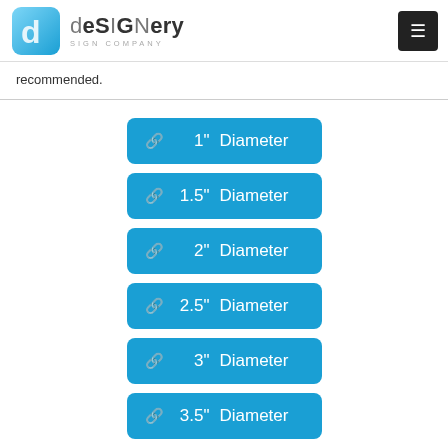[Figure (logo): deSIGNery Sign Company logo with blue cube icon and brand name]
recommended.
1" Diameter
1.5" Diameter
2" Diameter
2.5" Diameter
3" Diameter
3.5" Diameter